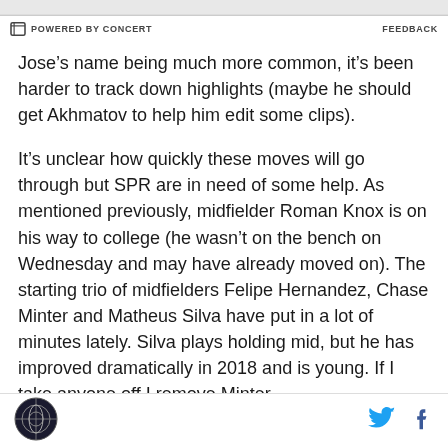POWERED BY CONCERT | FEEDBACK
Jose’s name being much more common, it’s been harder to track down highlights (maybe he should get Akhmatov to help him edit some clips).
It’s unclear how quickly these moves will go through but SPR are in need of some help. As mentioned previously, midfielder Roman Knox is on his way to college (he wasn’t on the bench on Wednesday and may have already moved on). The starting trio of midfielders Felipe Hernandez, Chase Minter and Matheus Silva have put in a lot of minutes lately. Silva plays holding mid, but he has improved dramatically in 2018 and is young. If I take anyone off I remove Minter
Logo | Twitter | Facebook